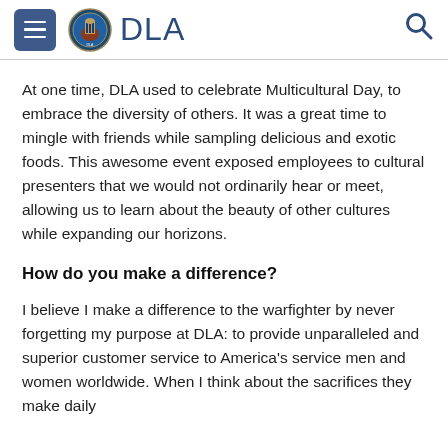DLA
At one time, DLA used to celebrate Multicultural Day, to embrace the diversity of others. It was a great time to mingle with friends while sampling delicious and exotic foods. This awesome event exposed employees to cultural presenters that we would not ordinarily hear or meet, allowing us to learn about the beauty of other cultures while expanding our horizons.
How do you make a difference?
I believe I make a difference to the warfighter by never forgetting my purpose at DLA: to provide unparalleled and superior customer service to America's service men and women worldwide. When I think about the sacrifices they make daily